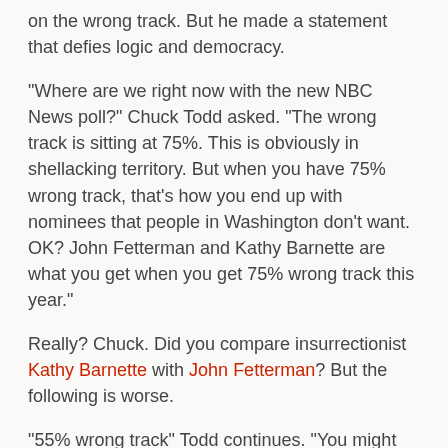on the wrong track. But he made a statement that defies logic and democracy.
“Where are we right now with the new NBC News poll?” Chuck Todd asked. “The wrong track is sitting at 75%. This is obviously in shellacking territory. But when you have 75% wrong track, that’s how you end up with nominees that people in Washington don’t want. OK? John Fetterman and Kathy Barnette are what you get when you get 75% wrong track this year.”
Really? Chuck. Did you compare insurrectionist Kathy Barnette with John Fetterman? But the following is worse.
“55% wrong track” Todd continues. “You might